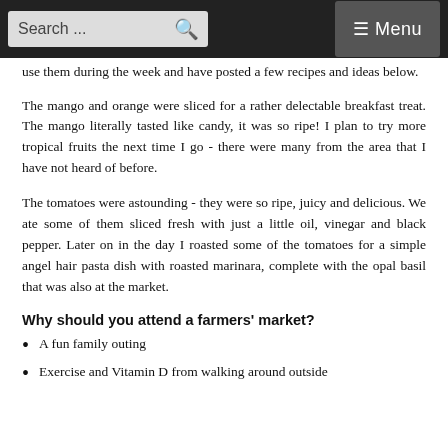Search ... ☰ Menu
use them during the week and have posted a few recipes and ideas below.
The mango and orange were sliced for a rather delectable breakfast treat. The mango literally tasted like candy, it was so ripe! I plan to try more tropical fruits the next time I go - there were many from the area that I have not heard of before.
The tomatoes were astounding - they were so ripe, juicy and delicious. We ate some of them sliced fresh with just a little oil, vinegar and black pepper. Later on in the day I roasted some of the tomatoes for a simple angel hair pasta dish with roasted marinara, complete with the opal basil that was also at the market.
Why should you attend a farmers' market?
A fun family outing
Exercise and Vitamin D from walking around outside